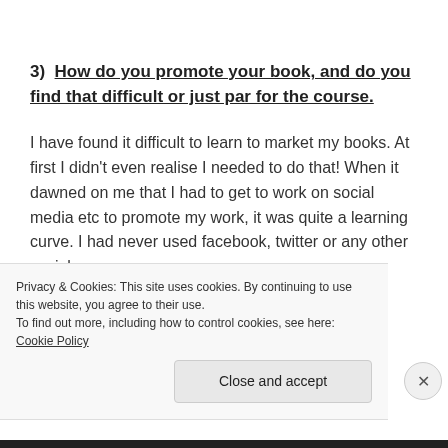3)  How do you promote your book, and do you find that difficult or just par for the course.
I have found it difficult to learn to market my books. At first I didn't even realise I needed to do that! When it dawned on me that I had to get to work on social media etc to promote my work, it was quite a learning curve. I had never used facebook, twitter or any other social
Privacy & Cookies: This site uses cookies. By continuing to use this website, you agree to their use.
To find out more, including how to control cookies, see here: Cookie Policy